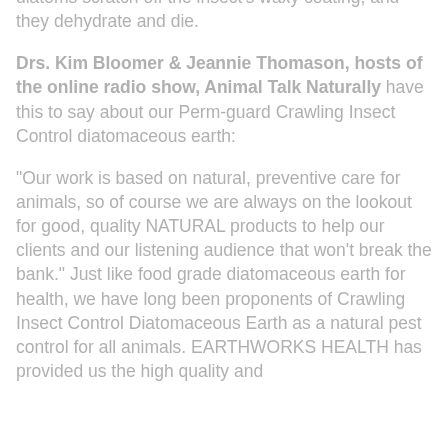diatoms scratch off the insect's waxy coating, and they dehydrate and die.
Drs. Kim Bloomer & Jeannie Thomason, hosts of the online radio show, Animal Talk Naturally have this to say about our Perm-guard Crawling Insect Control diatomaceous earth:
"Our work is based on natural, preventive care for animals, so of course we are always on the lookout for good, quality NATURAL products to help our clients and our listening audience that won't break the bank." Just like food grade diatomaceous earth for health, we have long been proponents of Crawling Insect Control Diatomaceous Earth as a natural pest control for all animals. EARTHWORKS HEALTH has provided us the high quality and